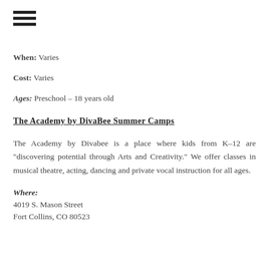[Figure (other): Hamburger menu icon with three horizontal bars]
When: Varies
Cost: Varies
Ages: Preschool – 18 years old
The Academy by DivaBee Summer Camps
The Academy by Divabee is a place where kids from K–12 are "discovering potential through Arts and Creativity." We offer classes in musical theatre, acting, dancing and private vocal instruction for all ages.
Where:
4019 S. Mason Street
Fort Collins, CO 80523